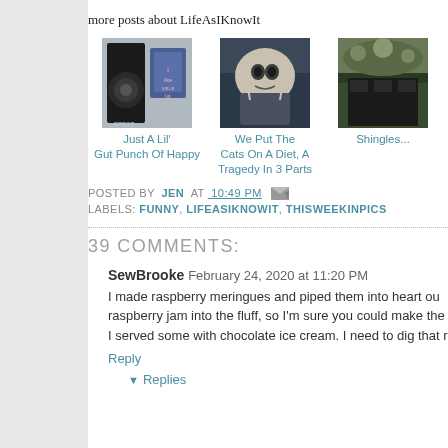more posts about LifeAsIKnowIt
[Figure (photo): Three thumbnail images: a camera with a blue sign, a person holding a black kitten, and an outdoor scene with shingles/roof]
Just A Lil' Gut Punch Of Happy
We Put The Cats On A Diet, A Tragedy In 3 Parts
Shingles...
POSTED BY JEN AT 10:49 PM
LABELS: FUNNY, LIFEASIKNOWIT, THISWEEKINPICS
39 COMMENTS:
SewBrooke  February 24, 2020 at 11:20 PM
I made raspberry meringues and piped them into heart ou raspberry jam into the fluff, so I'm sure you could make the I served some with chocolate ice cream. I need to dig that r
Reply
Replies